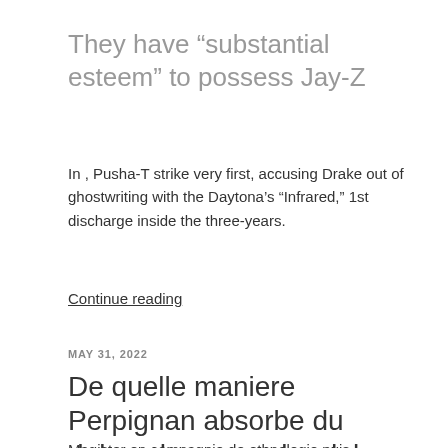They have “substantial esteem” to possess Jay-Z
In , Pusha-T strike very first, accusing Drake out of ghostwriting with the Daytona’s “Infrared,” 1st discharge inside the three-years.
Continue reading
MAY 31, 2022
De quelle maniere Perpignan absorbe du debauchees nos bordels espagnols
Magister en compagnie de ethnologie puis d’anthropologie, ! membre de notre laboratoire CNRS en